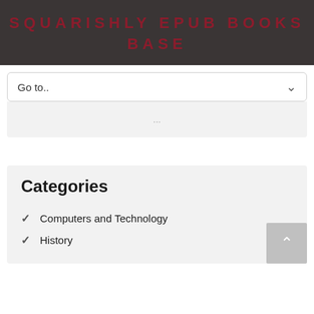SQUARISHLY EPUB BOOKS BASE
Go to..
...
Categories
Computers and Technology
History